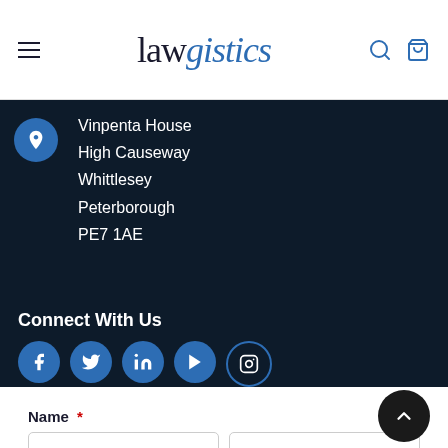lawgistics
Vinpenta House
High Causeway
Whittlesey
Peterborough
PE7 1AE
Connect With Us
[Figure (illustration): Five social media icon buttons: Facebook, Twitter, LinkedIn, YouTube, Instagram]
Name *